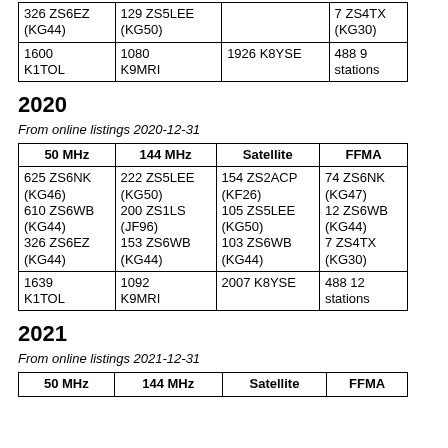| 50 MHz | 144 MHz | Satellite | FFMA |
| --- | --- | --- | --- |
| 326 ZS6EZ (KG44) | 129 ZS5LEE (KG50) |  | 7 ZS4TX (KG30) |
| 1600 K1TOL | 1080 K9MRI | 1926 K8YSE | 488 9 stations |
2020
From online listings 2020-12-31
| 50 MHz | 144 MHz | Satellite | FFMA |
| --- | --- | --- | --- |
| 625 ZS6NK (KG46)
610 ZS6WB (KG44)
326 ZS6EZ (KG44) | 222 ZS5LEE (KG50)
200 ZS1LS (JF96)
153 ZS6WB (KG44) | 154 ZS2ACP (KF26)
105 ZS5LEE (KG50)
103 ZS6WB (KG44) | 74 ZS6NK (KG47)
12 ZS6WB (KG44)
7 ZS4TX (KG30) |
| 1639 K1TOL | 1092 K9MRI | 2007 K8YSE | 488 12 stations |
2021
From online listings 2021-12-31
| 50 MHz | 144 MHz | Satellite | FFMA |
| --- | --- | --- | --- |